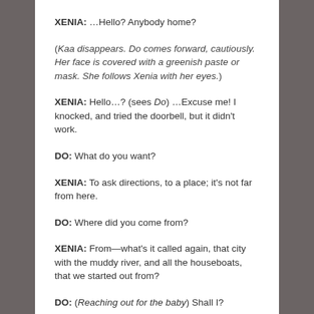XENIA: …Hello? Anybody home?
(Kaa disappears. Do comes forward, cautiously. Her face is covered with a greenish paste or mask. She follows Xenia with her eyes.)
XENIA: Hello…? (sees Do) …Excuse me! I knocked, and tried the doorbell, but it didn't work.
DO: What do you want?
XENIA: To ask directions, to a place; it's not far from here.
DO: Where did you come from?
XENIA: From—what's it called again, that city with the muddy river, and all the houseboats, that we started out from?
DO: (Reaching out for the baby) Shall I?